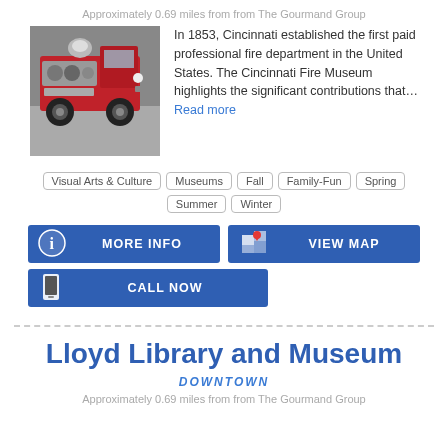Approximately 0.69 miles from from The Gourmand Group
[Figure (photo): Red vintage fire truck on display in a museum]
In 1853, Cincinnati established the first paid professional fire department in the United States. The Cincinnati Fire Museum highlights the significant contributions that... Read more
Visual Arts & Culture
Museums
Fall
Family-Fun
Spring
Summer
Winter
MORE INFO
VIEW MAP
CALL NOW
Lloyd Library and Museum
DOWNTOWN
Approximately 0.69 miles from from The Gourmand Group